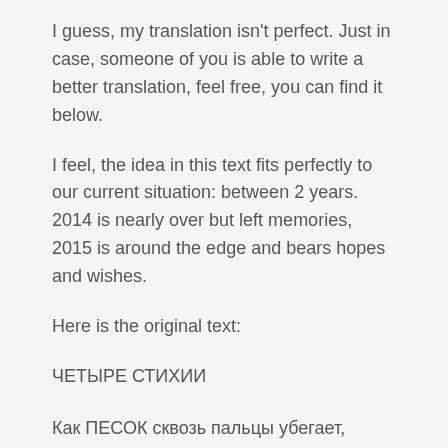I guess, my translation isn't perfect. Just in case, someone of you is able to write a better translation, feel free, you can find it below.
I feel, the idea in this text fits perfectly to our current situation: between 2 years. 2014 is nearly over but left memories, 2015 is around the edge and bears hopes and wishes.
Here is the original text:
ЧЕТЫРЕ СТИХИИ
Как ПЕСОК сквозь пальцы убегает,
Время прожитое – прожито все зря.
Знаешь, мало жизни не бывает,
Просто все зависит от тебя.